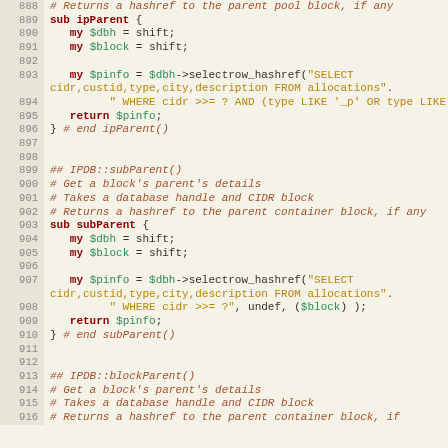[Figure (screenshot): Source code listing in Perl showing subroutines ipParent, subParent, and blockParent with line numbers 888-916. Code uses syntax highlighting with different colors for keywords, variables, strings, and comments.]